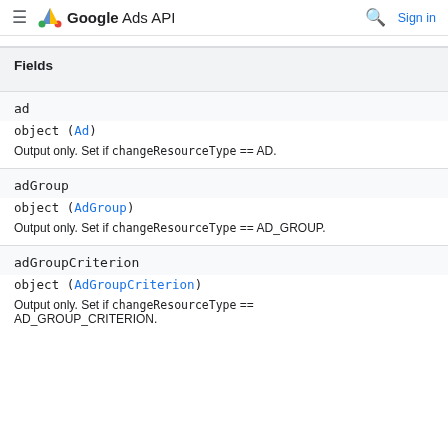Google Ads API
| Fields |
| --- |
| ad | object (Ad) | Output only. Set if changeResourceType == AD. |
| adGroup | object (AdGroup) | Output only. Set if changeResourceType == AD_GROUP. |
| adGroupCriterion | object (AdGroupCriterion) | Output only. Set if changeResourceType == AD_GROUP_CRITERION. |